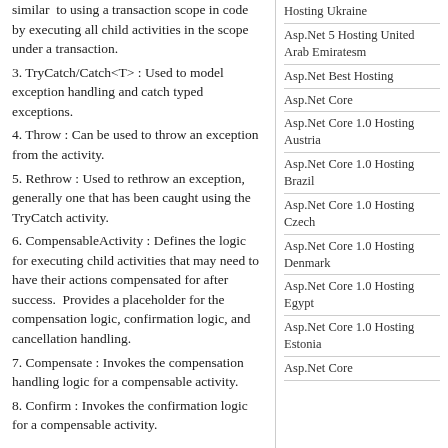similar to using a transaction scope in code by executing all child activities in the scope under a transaction.
3. TryCatch/Catch<T> : Used to model exception handling and catch typed exceptions.
4. Throw : Can be used to throw an exception from the activity.
5. Rethrow : Used to rethrow an exception, generally one that has been caught using the TryCatch activity.
6. CompensableActivity : Defines the logic for executing child activities that may need to have their actions compensated for after success.  Provides a placeholder for the compensation logic, confirmation logic, and cancellation handling.
7. Compensate : Invokes the compensation handling logic for a compensable activity.
8. Confirm : Invokes the confirmation logic for a compensable activity.
Options for executing workflows
In order to execute a workflow, you need an Activity that defines the workflow.  There
Hosting Ukraine
Asp.Net 5 Hosting United Arab Emiratesm
Asp.Net Best Hosting
Asp.Net Core
Asp.Net Core 1.0 Hosting Austria
Asp.Net Core 1.0 Hosting Brazil
Asp.Net Core 1.0 Hosting Czech
Asp.Net Core 1.0 Hosting Denmark
Asp.Net Core 1.0 Hosting Egypt
Asp.Net Core 1.0 Hosting Estonia
Asp.Net Core